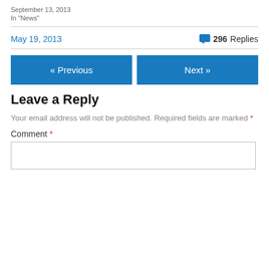September 13, 2013
In "News"
May 19, 2013
296 Replies
« Previous
Next »
Leave a Reply
Your email address will not be published. Required fields are marked *
Comment *